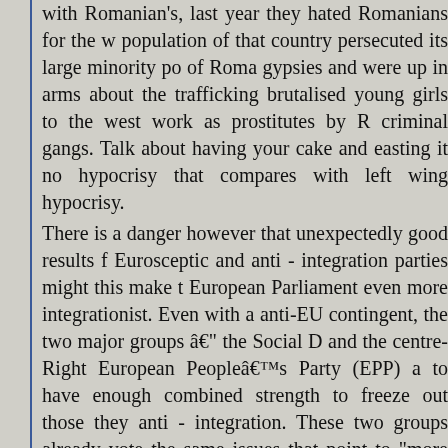with Romanian's, last year they hated Romanians for the w population of that country persecuted its large minority po of Roma gypsies and were up in arms about the trafficking brutalised young girls to the west work as prostitutes by R criminal gangs. Talk about having your cake and easting it no hypocrisy that compares with left wing hypocrisy.
There is a danger however that unexpectedly good results f Eurosceptic and anti - integration parties might this make t European Parliament even more integrationist. Even with a anti-EU contingent, the two major groups â€" the Social D and the centre-Right European Peopleâ€™s Party (EPP) a to have enough combined strength to freeze out those they anti - integration. These two groups already vote the same issues that point to "more Europe" and even gobal governa indicated by the secret Trans Atlantic Trade and Investment Partnership (TTIP) negotiations currently with the Obama administration in the USA to tie Europe and the US in an E economic union. The huge pro EU bloc in the EUâ€™s pa has already ganged up against the people. The Social Deme (centre left) and Christian Democrats (centre right) always same way as if they were one party. Ask them whether t